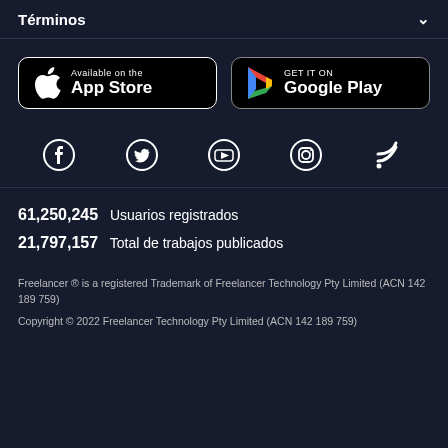Términos
[Figure (logo): Available on the App Store button]
[Figure (logo): GET IT ON Google Play button]
[Figure (infographic): Social media icons: Facebook, Twitter, YouTube, Instagram, RSS]
61,250,245  Usuarios registrados
21,797,157  Total de trabajos publicados
Freelancer ® is a registered Trademark of Freelancer Technology Pty Limited (ACN 142 189 759)
Copyright © 2022 Freelancer Technology Pty Limited (ACN 142 189 759)